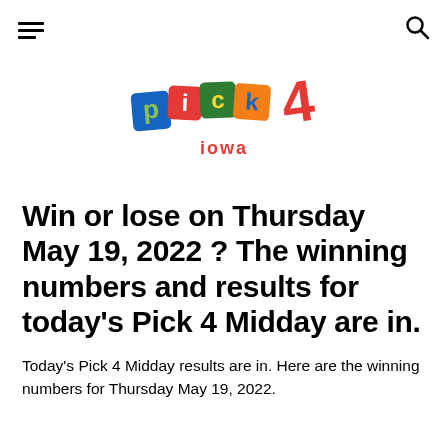≡  🔍
[Figure (logo): Pick 4 Iowa lottery logo with colorful letter tiles spelling 'pick' and a red '4' with 'iowa' below]
Win or lose on Thursday May 19, 2022 ? The winning numbers and results for today's Pick 4 Midday are in.
Today's Pick 4 Midday results are in. Here are the winning numbers for Thursday May 19, 2022.